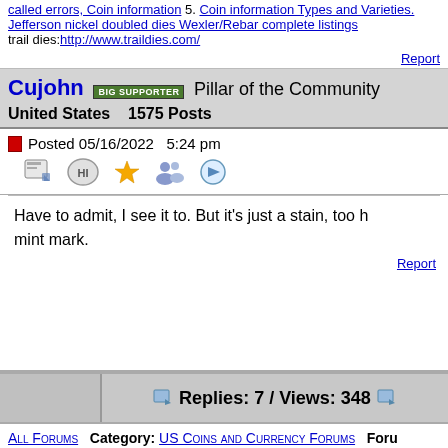called errors, Coin information 5. Coin information Types and Varieties. Jefferson nickel doubled dies Wexler/Rebar complete listings trail dies: http://www.traildies.com/
Report
Cujohn [BIG SUPPORTER] Pillar of the Community
United States   1575 Posts
Posted 05/16/2022  5:24 pm
Have to admit, I see it to. But it's just a stain, too h... mint mark.
Report
Replies: 7 / Views: 348
All Forums   Category: US Coins and Currency Forums   Foru...